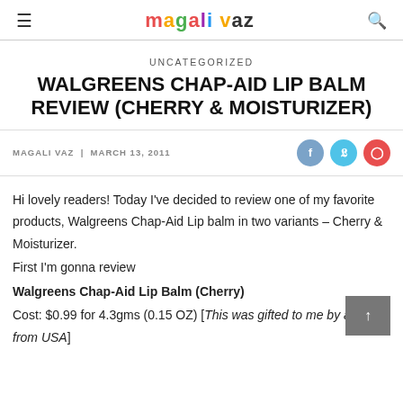magali vaz
UNCATEGORIZED
WALGREENS CHAP-AID LIP BALM REVIEW (CHERRY & MOISTURIZER)
MAGALI VAZ | MARCH 13, 2011
Hi lovely readers! Today I've decided to review one of my favorite products, Walgreens Chap-Aid Lip balm in two variants – Cherry & Moisturizer.
First I'm gonna review
Walgreens Chap-Aid Lip Balm (Cherry)
Cost: $0.99 for 4.3gms (0.15 OZ) [This was gifted to me by an aunt from USA]